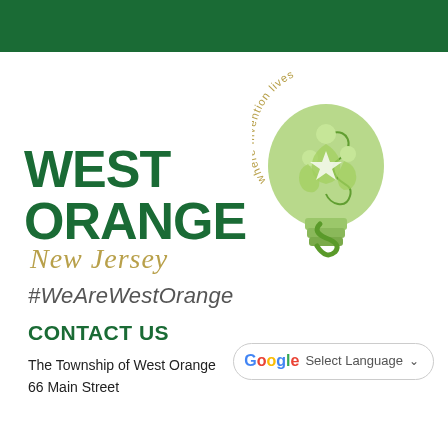[Figure (logo): West Orange New Jersey municipal logo featuring a light bulb shape in green with figures inside and arched text 'where invention lives' above, with bold green 'WEST ORANGE' text and italic gold 'New Jersey' script]
#WeAreWestOrange
CONTACT US
The Township of West Orange
66 Main Street